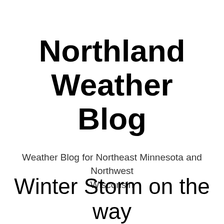Northland Weather Blog
Weather Blog for Northeast Minnesota and Northwest Wisconsin
Winter Storm on the way